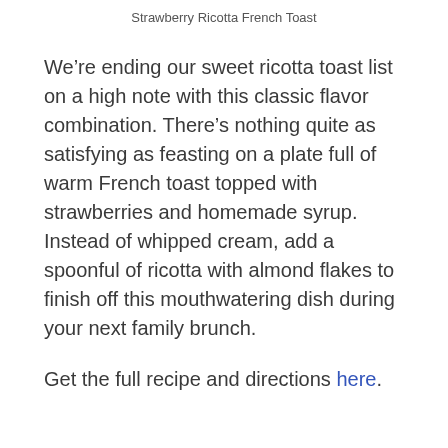Strawberry Ricotta French Toast
We’re ending our sweet ricotta toast list on a high note with this classic flavor combination. There’s nothing quite as satisfying as feasting on a plate full of warm French toast topped with strawberries and homemade syrup. Instead of whipped cream, add a spoonful of ricotta with almond flakes to finish off this mouthwatering dish during your next family brunch.
Get the full recipe and directions here.